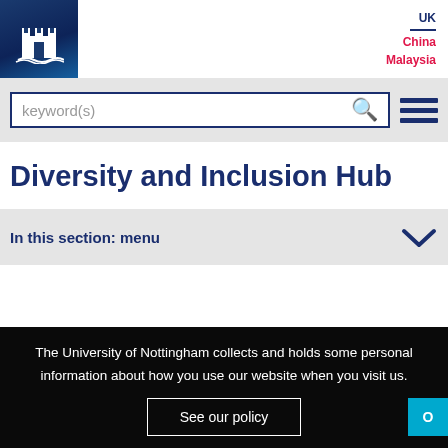[Figure (logo): University of Nottingham castle logo on dark blue background]
UK
China
Malaysia
[Figure (screenshot): Search bar with keyword(s) placeholder and hamburger menu icon]
Diversity and Inclusion Hub
In this section: menu
The University of Nottingham collects and holds some personal information about how you use our website when you visit us.
See our policy